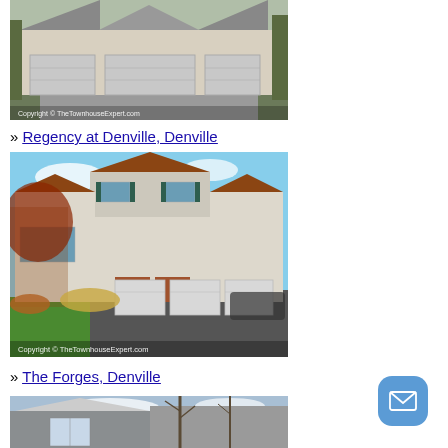[Figure (photo): Exterior photo of a townhouse/home with garage doors, bare trees, watermark: Copyright © TheTownhouseExpert.com]
» Regency at Denville, Denville
[Figure (photo): Exterior photo of Regency at Denville community home, two-story with three-car garage, green lawn and autumn shrubs, watermark: Copyright © TheTownhouseExpert.com]
» The Forges, Denville
[Figure (photo): Exterior photo of The Forges, Denville community home, grey siding, cloudy sky, bare trees]